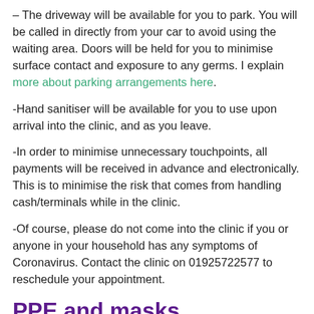– The driveway will be available for you to park. You will be called in directly from your car to avoid using the waiting area. Doors will be held for you to minimise surface contact and exposure to any germs. I explain more about parking arrangements here.
-Hand sanitiser will be available for you to use upon arrival into the clinic, and as you leave.
-In order to minimise unnecessary touchpoints, all payments will be received in advance and electronically. This is to minimise the risk that comes from handling cash/terminals while in the clinic.
-Of course, please do not come into the clinic if you or anyone in your household has any symptoms of Coronavirus. Contact the clinic on 01925722577 to reschedule your appointment.
PPE and masks
The service
[Figure (photo): Photo of a clinic exterior showing blue signage and banners, partially visible]